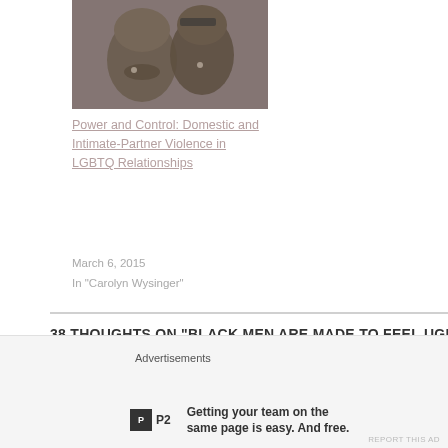[Figure (photo): Two people in close proximity, appearing to be about to kiss, one wearing glasses]
Power and Control: Domestic and Intimate-Partner Violence in LGBTQ Relationships
March 6, 2015
In “Carolyn Wysinger”
38 THOUGHTS ON “BLACK MEN ARE MADE TO FEEL UGLY, AND WE NEED TO TALK ABOUT IT”
[Figure (logo): Blue circular logo icon for comment/login area]
LOG IN TO REPLY
Advertisements
[Figure (logo): P2 logo - black square with P2 text]
Getting your team on the same page is easy. And free.